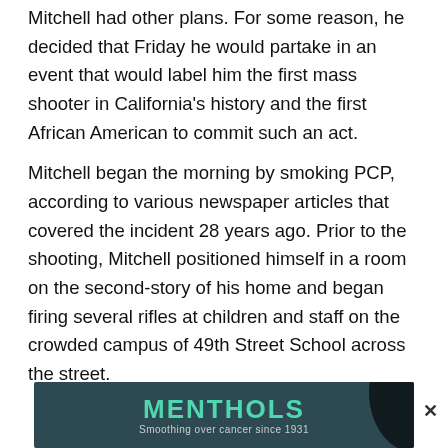Mitchell had other plans. For some reason, he decided that Friday he would partake in an event that would label him the first mass shooter in California's history and the first African American to commit such an act.
Mitchell began the morning by smoking PCP, according to various newspaper articles that covered the incident 28 years ago. Prior to the shooting, Mitchell positioned himself in a room on the second-story of his home and began firing several rifles at children and staff on the crowded campus of 49th Street School across the street.
[Figure (other): Advertisement banner for MENTHOLS with tagline 'Smoothing over cancer since 1931' on a dark teal background with a close (×) button.]